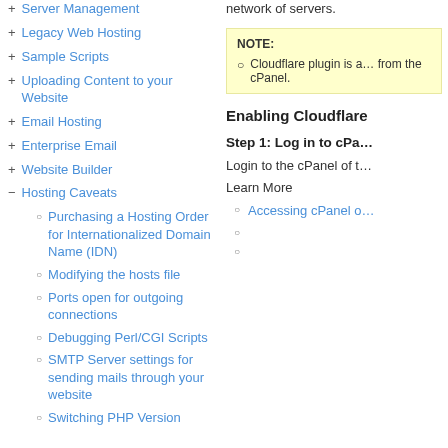+ Server Management
+ Legacy Web Hosting
+ Sample Scripts
+ Uploading Content to your Website
+ Email Hosting
+ Enterprise Email
+ Website Builder
- Hosting Caveats
○ Purchasing a Hosting Order for Internationalized Domain Name (IDN)
○ Modifying the hosts file
○ Ports open for outgoing connections
○ Debugging Perl/CGI Scripts
○ SMTP Server settings for sending mails through your website
○ Switching PHP Version
network of servers.
NOTE:
Cloudflare plugin is a... from the cPanel.
Enabling Cloudflare
Step 1: Log in to cPa...
Login to the cPanel of t...
Learn More
○ Accessing cPanel o...
○
○